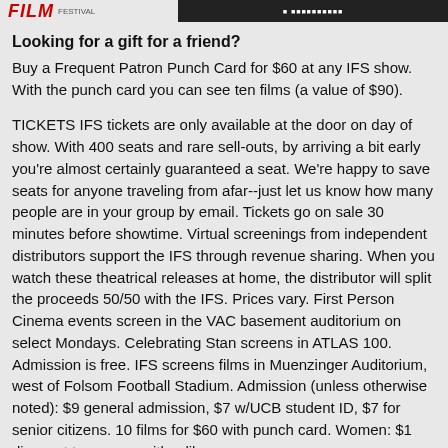FILM [logo] [banner image]
Looking for a gift for a friend?
Buy a Frequent Patron Punch Card for $60 at any IFS show. With the punch card you can see ten films (a value of $90).
TICKETS IFS tickets are only available at the door on day of show. With 400 seats and rare sell-outs, by arriving a bit early you're almost certainly guaranteed a seat. We're happy to save seats for anyone traveling from afar--just let us know how many people are in your group by email. Tickets go on sale 30 minutes before showtime. Virtual screenings from independent distributors support the IFS through revenue sharing. When you watch these theatrical releases at home, the distributor will split the proceeds 50/50 with the IFS. Prices vary. First Person Cinema events screen in the VAC basement auditorium on select Mondays. Celebrating Stan screens in ATLAS 100. Admission is free. IFS screens films in Muenzinger Auditorium, west of Folsom Football Stadium. Admission (unless otherwise noted): $9 general admission, $7 w/UCB student ID, $7 for senior citizens. 10 films for $60 with punch card. Women: $1 discount to anyone with a lib...